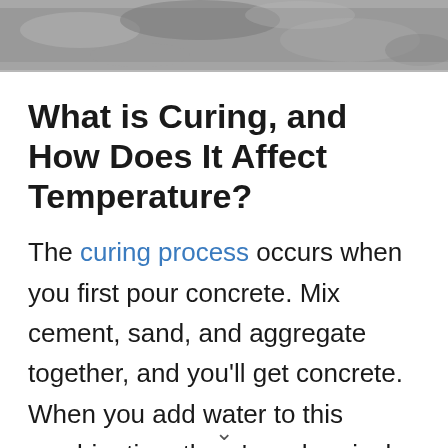[Figure (photo): Close-up photo of concrete surface texture in grayscale, showing rough aggregate material.]
What is Curing, and How Does It Affect Temperature?
The curing process occurs when you first pour concrete. Mix cement, sand, and aggregate together, and you'll get concrete. When you add water to this combination, there's a chemical reaction that occurs, which [continues below]